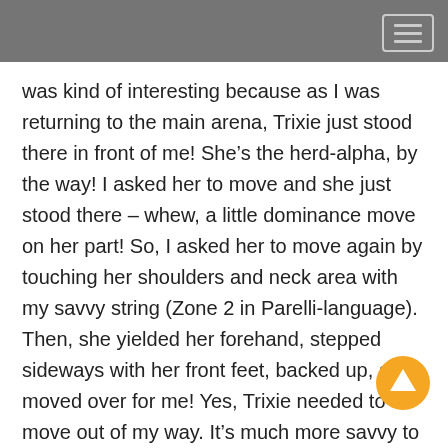was kind of interesting because as I was returning to the main arena, Trixie just stood there in front of me!  She's the herd-alpha, by the way!  I asked her to move and she just stood there – whew, a little dominance move on her part!  So, I asked her to move again by touching her shoulders and neck area with my savvy string (Zone 2 in Parelli-language).  Then, she yielded her forehand, stepped sideways with her front feet, backed up, and moved over for me!  Yes, Trixie needed to move out of my way.   It's much more savvy to have your horse move out of your way than for you to walk around your horse!
I learned from a natural horseman, years back, that